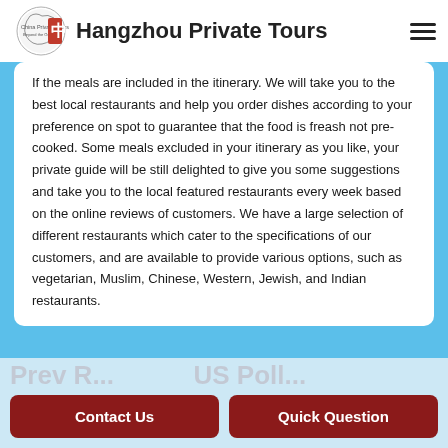Hangzhou Private Tours
If the meals are included in the itinerary. We will take you to the best local restaurants and help you order dishes according to your preference on spot to guarantee that the food is freash not pre-cooked. Some meals excluded in your itinerary as you like, your private guide will be still delighted to give you some suggestions and take you to the local featured restaurants every week based on the online reviews of customers. We have a large selection of different restaurants which cater to the specifications of our customers, and are available to provide various options, such as vegetarian, Muslim, Chinese, Western, Jewish, and Indian restaurants.
Contact Us
Quick Question